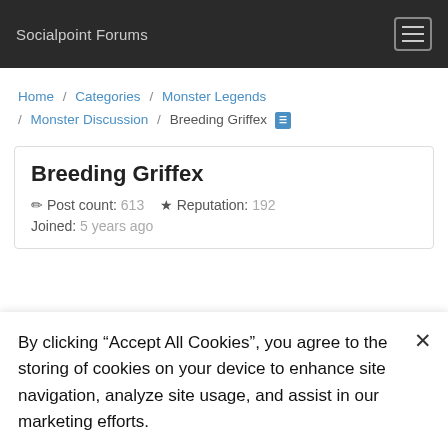Socialpoint Forums
Home / Categories / Monster Legends / Monster Discussion / Breeding Griffex
Breeding Griffex
Post count: 613  Reputation: 192  Joined: 5 years ago
By clicking “Accept All Cookies”, you agree to the storing of cookies on your device to enhance site navigation, analyze site usage, and assist in our marketing efforts.
)) Cookies Settings